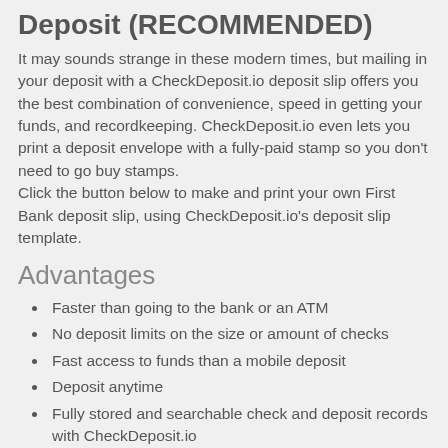Deposit (RECOMMENDED)
It may sounds strange in these modern times, but mailing in your deposit with a CheckDeposit.io deposit slip offers you the best combination of convenience, speed in getting your funds, and recordkeeping. CheckDeposit.io even lets you print a deposit envelope with a fully-paid stamp so you don't need to go buy stamps.
Click the button below to make and print your own First Bank deposit slip, using CheckDeposit.io's deposit slip template.
Advantages
Faster than going to the bank or an ATM
No deposit limits on the size or amount of checks
Fast access to funds than a mobile deposit
Deposit anytime
Fully stored and searchable check and deposit records with CheckDeposit.io